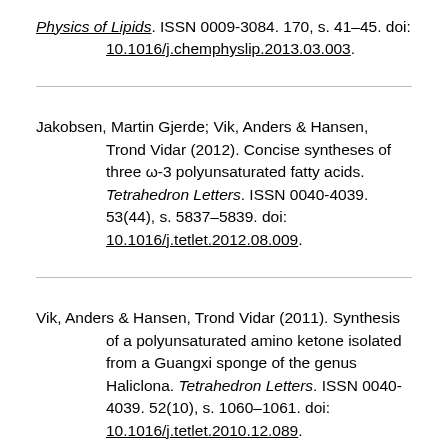Physics of Lipids. ISSN 0009-3084. 170, s. 41–45. doi: 10.1016/j.chemphyslip.2013.03.003.
Jakobsen, Martin Gjerde; Vik, Anders & Hansen, Trond Vidar (2012). Concise syntheses of three ω-3 polyunsaturated fatty acids. Tetrahedron Letters. ISSN 0040-4039. 53(44), s. 5837–5839. doi: 10.1016/j.tetlet.2012.08.009.
Vik, Anders & Hansen, Trond Vidar (2011). Synthesis of a polyunsaturated amino ketone isolated from a Guangxi sponge of the genus Haliclona. Tetrahedron Letters. ISSN 0040-4039. 52(10), s. 1060–1061. doi: 10.1016/j.tetlet.2010.12.089.
Vik, Anders; Hansen, Trond Vidar; Holmeide, Anne Kristin & Skattebol, Lars (2010). Synthesis of imine, amino...